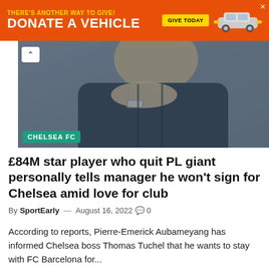[Figure (infographic): Orange advertisement banner: 'THERE'S ANOTHER WAY TO GIVE! DONATE A VEHICLE' with yellow 'GIVE TODAY' button and car image on right, close X button top right]
[Figure (photo): Man in dark blue jacket with hands clasped near face, looking pensive. Wearing a luxury watch. Photo has blue-grey tint overlay. CHELSEA FC green tag at bottom left.]
£84M star player who quit PL giant personally tells manager he won't sign for Chelsea amid love for club
By SportEarly — August 16, 2022  0
According to reports, Pierre-Emerick Aubameyang has informed Chelsea boss Thomas Tuchel that he wants to stay with FC Barcelona for...